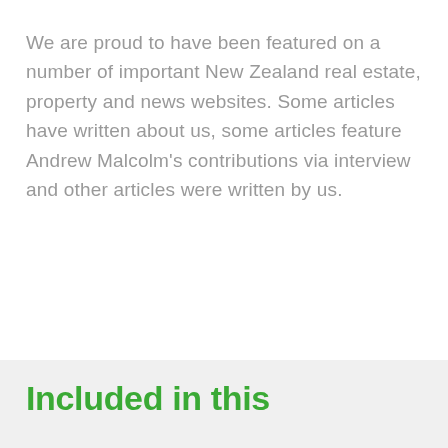We are proud to have been featured on a number of important New Zealand real estate, property and news websites. Some articles have written about us, some articles feature Andrew Malcolm's contributions via interview and other articles were written by us.
Included in this